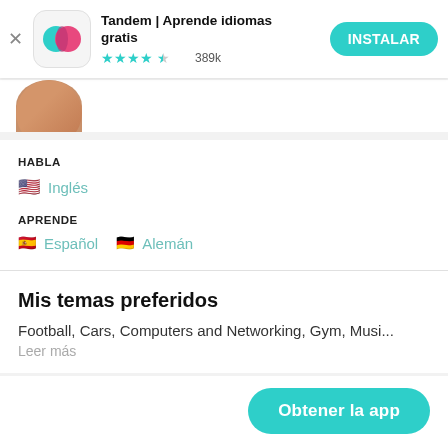[Figure (logo): Tandem app logo: teal and pink overlapping speech bubbles on white rounded square background]
Tandem | Aprende idiomas gratis
★★★★½ 389k
INSTALAR
[Figure (photo): Partial profile photo showing top of person's head]
HABLA
🇺🇸 Inglés
APRENDE
🇪🇸 Español  🇩🇪 Alemán
Mis temas preferidos
Football, Cars, Computers and Networking, Gym, Musi...
Leer más
Obtener la app